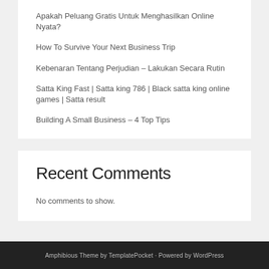Apakah Peluang Gratis Untuk Menghasilkan Online Nyata?
How To Survive Your Next Business Trip
Kebenaran Tentang Perjudian – Lakukan Secara Rutin
Satta King Fast | Satta king 786 | Black satta king online games | Satta result
Building A Small Business – 4 Top Tips
Recent Comments
No comments to show.
Amphibious Theme by TemplatePocket · Powered by WordPress